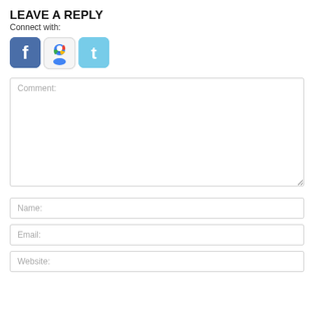LEAVE A REPLY
Connect with:
[Figure (illustration): Three social media login buttons: Facebook (blue with 'f' logo), Google+ (colorful Google logo), and Twitter (light blue with 't' bird logo)]
Comment:
Name:
Email:
Website: